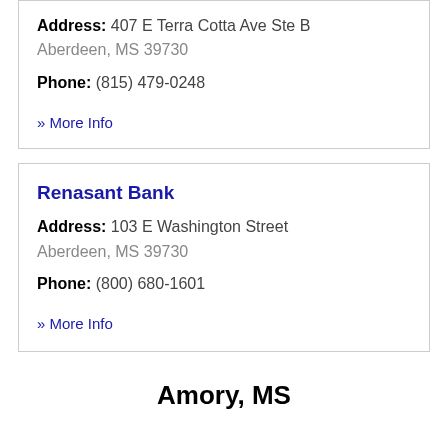Address: 407 E Terra Cotta Ave Ste B Aberdeen, MS 39730
Phone: (815) 479-0248
» More Info
Renasant Bank
Address: 103 E Washington Street Aberdeen, MS 39730
Phone: (800) 680-1601
» More Info
Amory, MS